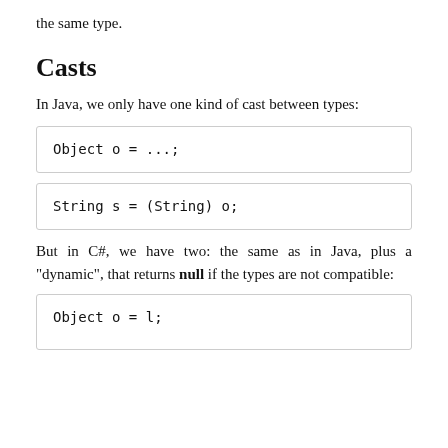the same type.
Casts
In Java, we only have one kind of cast between types:
Object o = ...;
String s = (String) o;
But in C#, we have two: the same as in Java, plus a “dynamic”, that returns null if the types are not compatible:
Object o = l;